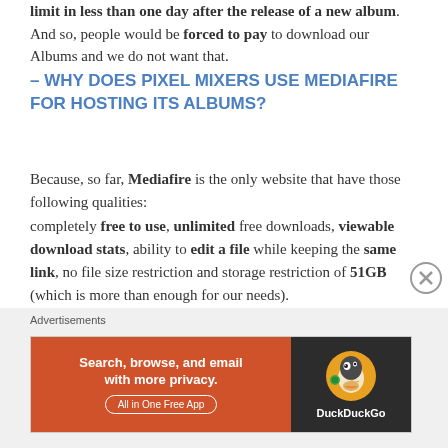limit in less than one day after the release of a new album. And so, people would be forced to pay to download our Albums and we do not want that.
– WHY DOES PIXEL MIXERS USE MEDIAFIRE FOR HOSTING ITS ALBUMS?
Because, so far, Mediafire is the only website that have those following qualities: completely free to use, unlimited free downloads, viewable download stats, ability to edit a file while keeping the same link, no file size restriction and storage restriction of 51GB (which is more than enough for our needs).
[Figure (other): Advertisement banner for DuckDuckGo: 'Search, browse, and email with more privacy. All in One Free App' on orange background with DuckDuckGo logo on dark background]